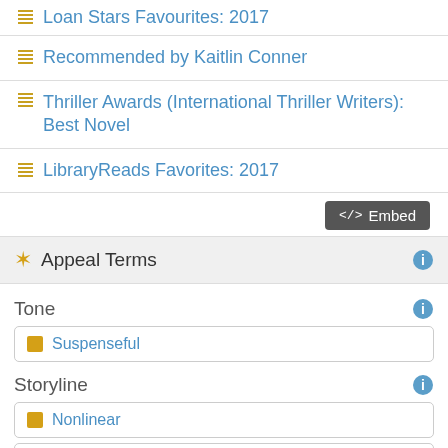Loan Stars Favourites: 2017
Recommended by Kaitlin Conner
Thriller Awards (International Thriller Writers): Best Novel
LibraryReads Favorites: 2017
Appeal Terms
Tone
Suspenseful
Storyline
Nonlinear
Intricately plotted